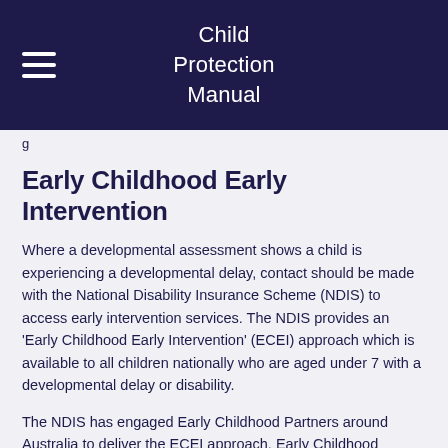Child Protection Manual
g
Early Childhood Early Intervention
Where a developmental assessment shows a child is experiencing a developmental delay, contact should be made with the National Disability Insurance Scheme (NDIS) to access early intervention services. The NDIS provides an 'Early Childhood Early Intervention' (ECEI) approach which is available to all children nationally who are aged under 7 with a developmental delay or disability.
The NDIS has engaged Early Childhood Partners around Australia to deliver the ECEI approach. Early Childhood Partners are experienced in providing